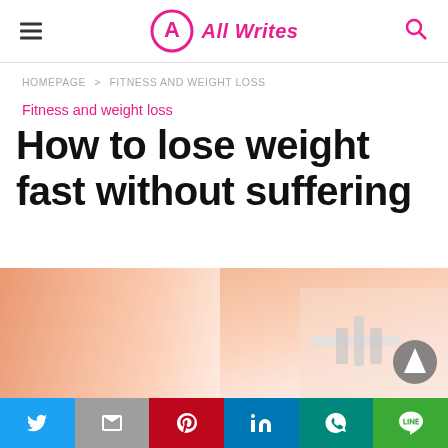All Writes
HOMEPAGE > FITNESS AND WEIGHT LOSS
Fitness and weight loss
How to lose weight fast without suffering
[Figure (photo): Close-up of a person's waist being measured with calipers, pink-skin tone background]
[Figure (infographic): Social sharing bar with Twitter, Gmail, Pinterest, LinkedIn, WhatsApp, and LINE buttons]